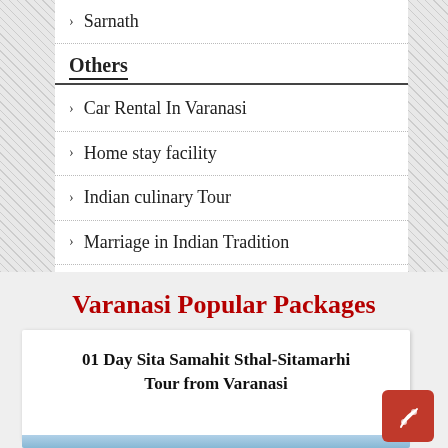› Sarnath
Others
› Car Rental In Varanasi
› Home stay facility
› Indian culinary Tour
› Marriage in Indian Tradition
Varanasi Popular Packages
01 Day Sita Samahit Sthal-Sitamarhi Tour from Varanasi